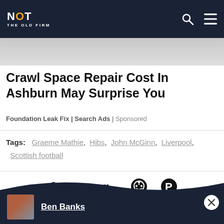NOT THE OLD FIRM
[Figure (photo): Partial image strip/banner photo]
Crawl Space Repair Cost In Ashburn May Surprise You
Foundation Leak Fix | Search Ads | Sponsored
Tags: Graeme Mathie, Hibs, John McGinn, Liverpool, Scottish football
[Figure (infographic): Social share icons: Facebook, Twitter, Google+, Reddit, Pinterest]
Ben Banks